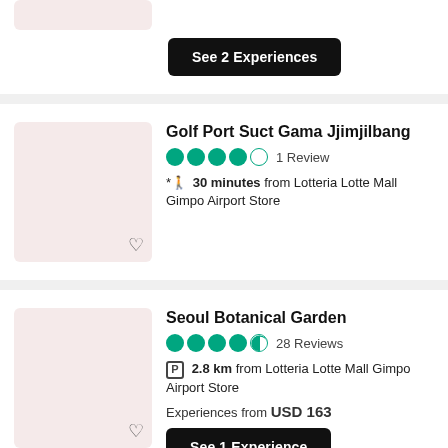[Figure (screenshot): Partial top card with pink thumbnail and See 2 Experiences button]
Golf Port Suct Gama Jjimjilbang
1 Review
30 minutes from Lotteria Lotte Mall Gimpo Airport Store
Seoul Botanical Garden
28 Reviews
2.8 km from Lotteria Lotte Mall Gimpo Airport Store
Experiences from USD 163
See 1 Experience